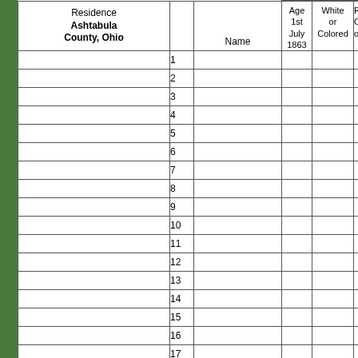| Residence Ashtabula County, Ohio |  | Name | Age 1st July 1863 | White or Colored | Profes Occup or Tr |
| --- | --- | --- | --- | --- | --- |
|  | 1 |  |  |  |  |
|  | 2 |  |  |  |  |
|  | 3 |  |  |  |  |
|  | 4 |  |  |  |  |
|  | 5 |  |  |  |  |
|  | 6 |  |  |  |  |
|  | 7 |  |  |  |  |
|  | 8 |  |  |  |  |
|  | 9 |  |  |  |  |
|  | 10 |  |  |  |  |
|  | 11 |  |  |  |  |
|  | 12 |  |  |  |  |
|  | 13 |  |  |  |  |
|  | 14 |  |  |  |  |
|  | 15 |  |  |  |  |
|  | 16 |  |  |  |  |
|  | 17 |  |  |  |  |